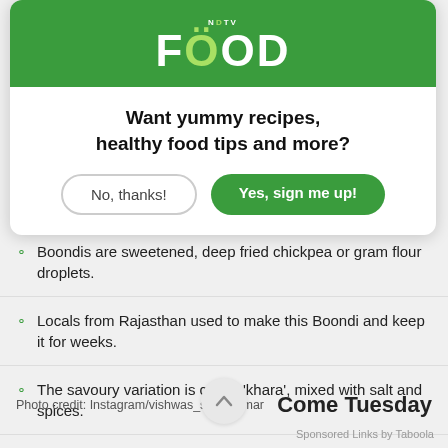[Figure (logo): NDTV Food logo with green background, white text]
Want yummy recipes, healthy food tips and more?
No, thanks!   Yes, sign me up!
Boondis are sweetened, deep fried chickpea or gram flour droplets.
Locals from Rajasthan used to make this Boondi and keep it for weeks.
The savoury variation is called 'khara', mixed with salt and spices.
Photo credit: Instagram/vishwas_shivakumar
Come Tuesday
Sponsored Links by Taboola